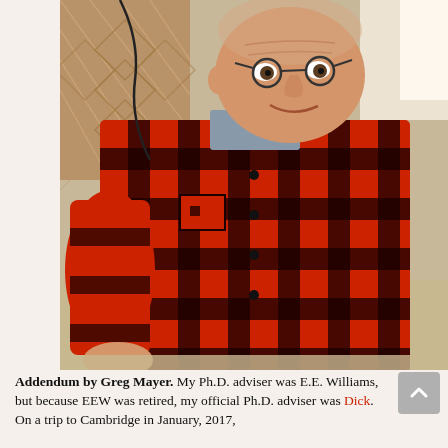[Figure (photo): An elderly man wearing red and black buffalo plaid flannel shirt, sitting on a couch with a brown argyle patterned pillow behind him, smiling, wearing round glasses.]
Addendum by Greg Mayer. My Ph.D. adviser was E.E. Williams, but because EEW was retired, my official Ph.D. adviser was Dick. On a trip to Cambridge in January, 2017,